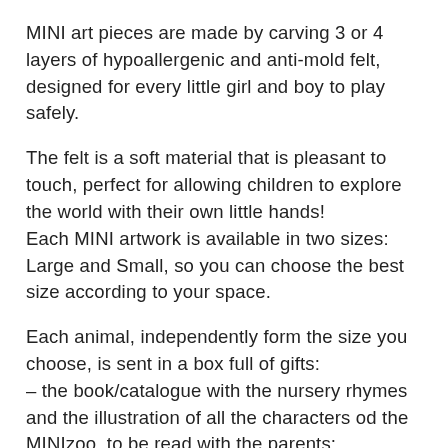MINI art pieces are made by carving 3 or 4 layers of hypoallergenic and anti-mold felt, designed for every little girl and boy to play safely.
The felt is a soft material that is pleasant to touch, perfect for allowing children to explore the world with their own little hands!
Each MINI artwork is available in two sizes: Large and Small, so you can choose the best size according to your space.
Each animal, independently form the size you choose, is sent in a box full of gifts:
– the book/catalogue with the nursery rhymes and the illustration of all the characters od the MINIzoo, to be read with the parents;
– the certificate as MINI collector;